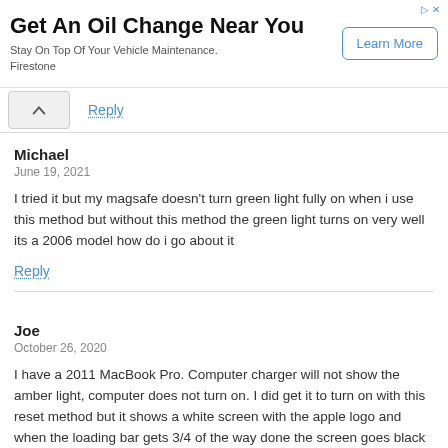[Figure (other): Advertisement banner: 'Get An Oil Change Near You' by Firestone with a 'Learn More' button]
Reply
Michael
June 19, 2021

I tried it but my magsafe doesn't turn green light fully on when i use this method but without this method the green light turns on very well its a 2006 model how do i go about it
Reply
Joe
October 26, 2020

I have a 2011 MacBook Pro. Computer charger will not show the amber light, computer does not turn on. I did get it to turn on with this reset method but it shows a white screen with the apple logo and when the loading bar gets 3/4 of the way done the screen goes black and it starts doing the same thing over and over. Can I